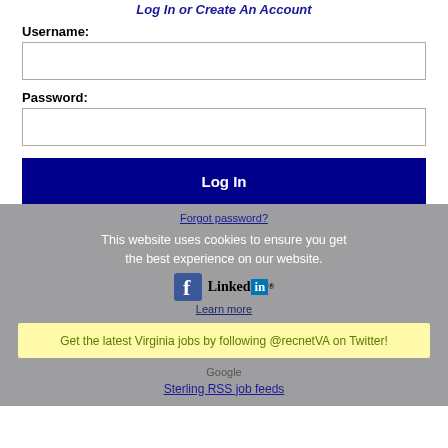Log In or Create An Account
Username:
Password:
Log In
Forgot password?
This website uses cookies to ensure you get the best experience on our website.
Learn more
[Figure (logo): Facebook and LinkedIn logos side by side]
Get the latest Virginia jobs by following @recnetVA on Twitter!
Google
Sterling RSS job feeds